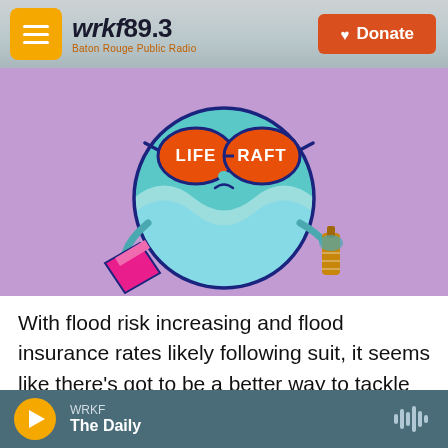wrkf89.3 Baton Rouge Public Radio | Donate
[Figure (illustration): Cartoon globe character wearing sunglasses with 'LIFE RAFT' text in the lenses, holding a bottle and a pink object, on purple background]
With flood risk increasing and flood insurance rates likely following suit, it seems like there’s got to be a better way to tackle the challenge.
WRKF The Daily